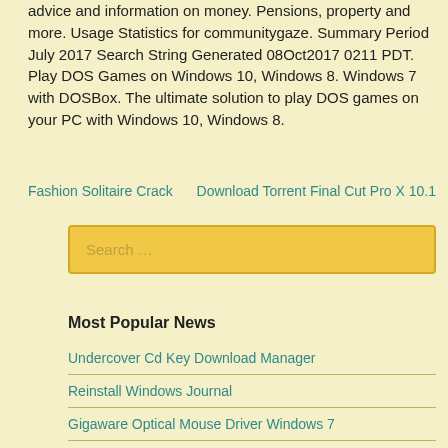advice and information on money. Pensions, property and more. Usage Statistics for communitygaze. Summary Period July 2017 Search String Generated 08Oct2017 0211 PDT. Play DOS Games on Windows 10, Windows 8. Windows 7 with DOSBox. The ultimate solution to play DOS games on your PC with Windows 10, Windows 8.
Fashion Solitaire Crack
Download Torrent Final Cut Pro X 10.1
[Figure (screenshot): Search input box with placeholder text 'Search ...' styled with golden/yellow background]
Most Popular News
Undercover Cd Key Download Manager
Reinstall Windows Journal
Gigaware Optical Mouse Driver Windows 7